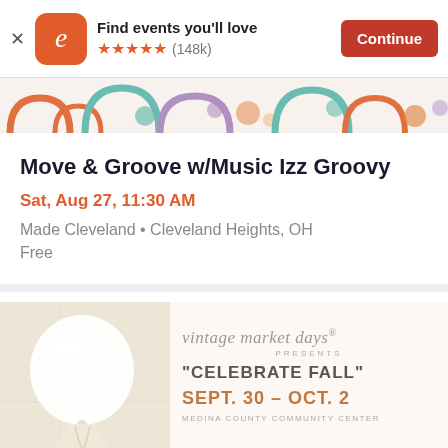[Figure (screenshot): App store banner with Eventbrite logo (orange rounded square with white 'e'), text 'Find events you’ll love', five orange stars, rating '(148k)', and orange 'Continue' button. Close 'x' at left.]
[Figure (illustration): Decorative colorful banner strip with rainbow/arch patterns in orange, teal, purple, and pink on white background.]
Move & Groove w/Music Izz Groovy
Sat, Aug 27, 11:30 AM
Made Cleveland • Cleveland Heights, OH
Free
[Figure (photo): Photo of a large white balloon held by a person in a light-colored dress against a light wall background.]
[Figure (illustration): Vintage Market Days event ad: script logo 'vintage market days', 'PRESENTS', '"CELEBRATE FALL"', 'SEPT. 30 - OCT. 2', 'MEDINA COUNTY COMMUNITY CENTER']